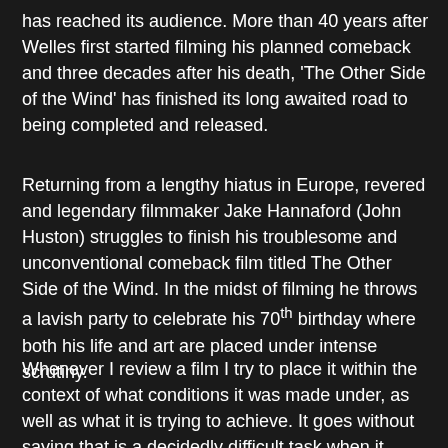has reached its audience. More than 40 years after Welles first started filming his planned comeback and three decades after his death, 'The Other Side of the Wind' has finished its long awaited road to being completed and released.
Returning from a lengthy hiatus in Europe, revered and legendary filmmaker Jake Hannaford (John Huston) struggles to finish his troublesome and unconventional comeback film titled The Other Side of the Wind. In the midst of filming he throws a lavish party to celebrate his 70th birthday where both his life and art are placed under intense scrutiny.
Whenever I review a film I try to place it within the context of what conditions it was made under, as well as what it is trying to achieve. It goes without saying that is a decidedly difficult task when it comes to judging 'The Other Side of the Wind'. The date this film has been given its rightful viewing and Welles...